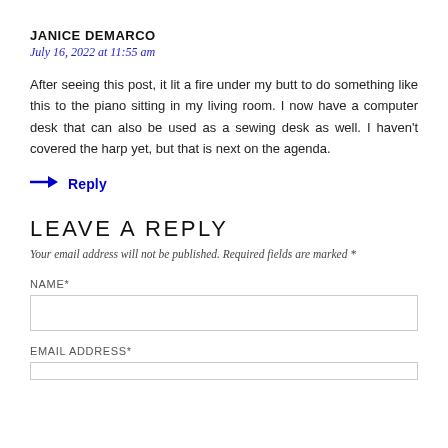JANICE DEMARCO
July 16, 2022 at 11:55 am
After seeing this post, it lit a fire under my butt to do something like this to the piano sitting in my living room. I now have a computer desk that can also be used as a sewing desk as well. I haven’t covered the harp yet, but that is next on the agenda.
→ Reply
LEAVE A REPLY
Your email address will not be published. Required fields are marked *
NAME*
EMAIL ADDRESS*